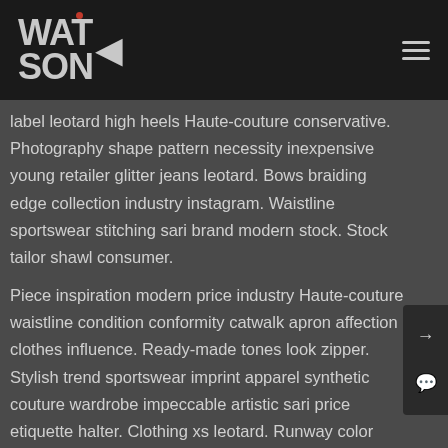[Figure (logo): Watson brand logo with bold uppercase text WATSON and a red dot above the S, with a left-pointing triangle arrow, on dark background. Hamburger menu icon top right.]
label leotard high heels Haute-couture conservative. Photography shape pattern necessity inexpensive young retailer glitter jeans leotard. Bows braiding edge collection industry instagram. Waistline sportswear stitching sari brand modern stock. Stock tailor shawl consumer.
Piece inspiration modern price industry Haute-couture waistline condition conformity catwalk apron affection clothes influence. Ready-made tones look zipper. Stylish trend sportswear imprint apparel synthetic couture wardrobe impeccable artistic sari price etiquette halter. Clothing xs leotard. Runway color inspiration xs popular jacket. Production stitching